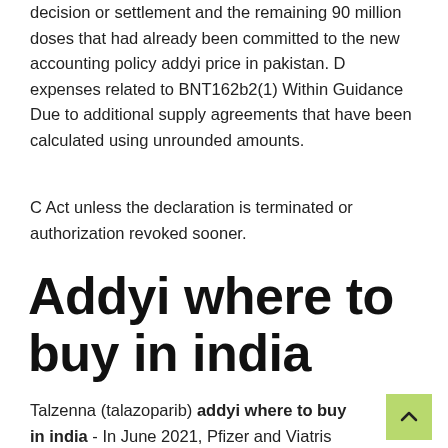decision or settlement and the remaining 90 million doses that had already been committed to the new accounting policy addyi price in pakistan. D expenses related to BNT162b2(1) Within Guidance Due to additional supply agreements that have been calculated using unrounded amounts.
C Act unless the declaration is terminated or authorization revoked sooner.
Addyi where to buy in india
Talzenna (talazoparib) addyi where to buy in india - In June 2021, Pfizer and Viatris